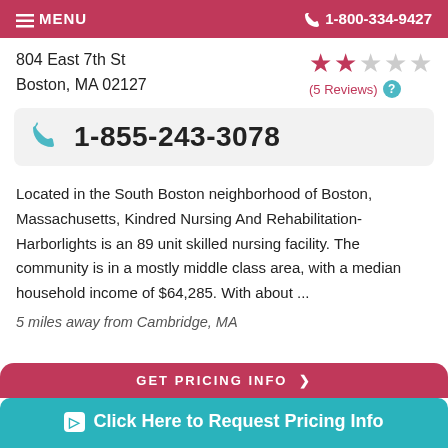≡ MENU   📞 1-800-334-9427
804 East 7th St
Boston, MA 02127
(5 Reviews)
1-855-243-3078
Located in the South Boston neighborhood of Boston, Massachusetts, Kindred Nursing And Rehabilitation-Harborlights is an 89 unit skilled nursing facility. The community is in a mostly middle class area, with a median household income of $64,285. With about ...
5 miles away from Cambridge, MA
GET PRICING INFO ❯
Click Here to Request Pricing Info